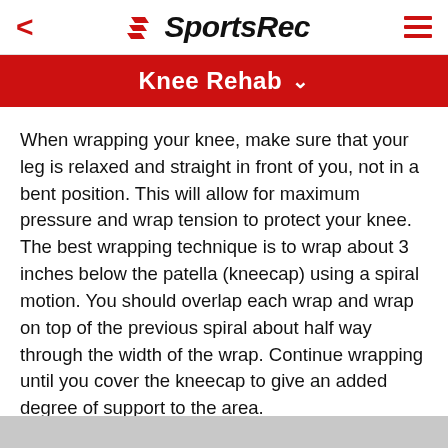SportsRec
Knee Rehab
When wrapping your knee, make sure that your leg is relaxed and straight in front of you, not in a bent position. This will allow for maximum pressure and wrap tension to protect your knee. The best wrapping technique is to wrap about 3 inches below the patella (kneecap) using a spiral motion. You should overlap each wrap and wrap on top of the previous spiral about half way through the width of the wrap. Continue wrapping until you cover the kneecap to give an added degree of support to the area.